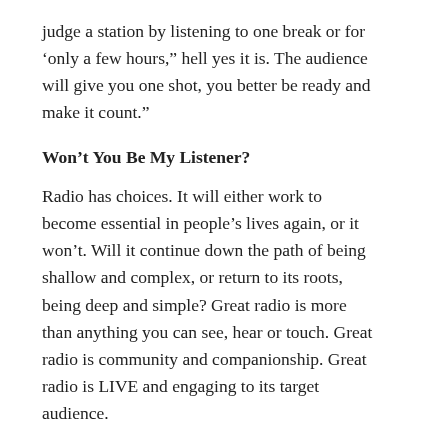judge a station by listening to one break or for ‘only a few hours,” hell yes it is. The audience will give you one shot, you better be ready and make it count.”
Won’t You Be My Listener?
Radio has choices. It will either work to become essential in people’s lives again, or it won’t. Will it continue down the path of being shallow and complex, or return to its roots, being deep and simple? Great radio is more than anything you can see, hear or touch. Great radio is community and companionship. Great radio is LIVE and engaging to its target audience.
Great radio is created by dedicated radio people who spend every waking hour focused on delivering great radio.